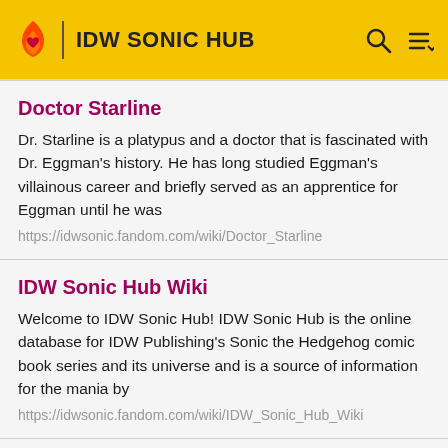IDW SONIC HUB
Doctor Starline
Dr. Starline is a platypus and a doctor that is fascinated with Dr. Eggman's history. He has long studied Eggman's villainous career and briefly served as an apprentice for Eggman until he was
https://idwsonic.fandom.com/wiki/Doctor_Starline
IDW Sonic Hub Wiki
Welcome to IDW Sonic Hub! IDW Sonic Hub is the online database for IDW Publishing's Sonic the Hedgehog comic book series and its universe and is a source of information for the mania by
https://idwsonic.fandom.com/wiki/IDW_Sonic_Hub_Wiki
Badnik
programmed to serve him. Just before the end of the war between the the Resistance and the Eggman Empire, a group of